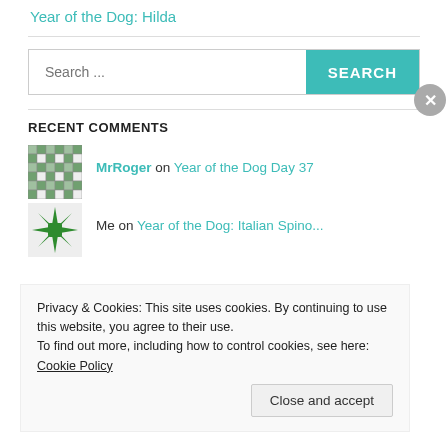Year of the Dog: Hilda
Search ...
RECENT COMMENTS
MrRoger on Year of the Dog Day 37
Me on Year of the Dog: Italian Spino...
Privacy & Cookies: This site uses cookies. By continuing to use this website, you agree to their use. To find out more, including how to control cookies, see here: Cookie Policy
Close and accept